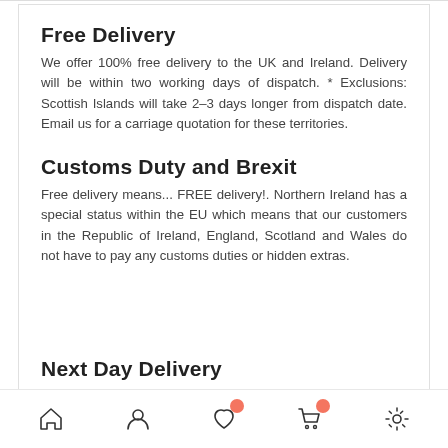Free Delivery
We offer 100% free delivery to the UK and Ireland. Delivery will be within two working days of dispatch. * Exclusions: Scottish Islands will take 2-3 days longer from dispatch date. Email us for a carriage quotation for these territories.
Customs Duty and Brexit
Free delivery means... FREE delivery!. Northern Ireland has a special status within the EU which means that our customers in the Republic of Ireland, England, Scotland and Wales do not have to pay any customs duties or hidden extras.
Next Day Delivery